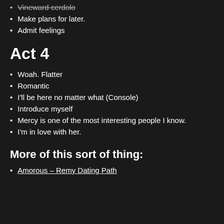Vineward cerdolo
Make plans for later.
Admit feelings
Act 4
Woah. Flatter
Romantic
I'll be here no matter what (Console)
Introduce myself
Mercy is one of the most interesting people I know.
I'm in love with her.
More of this sort of thing:
Amorous – Remy Dating Path